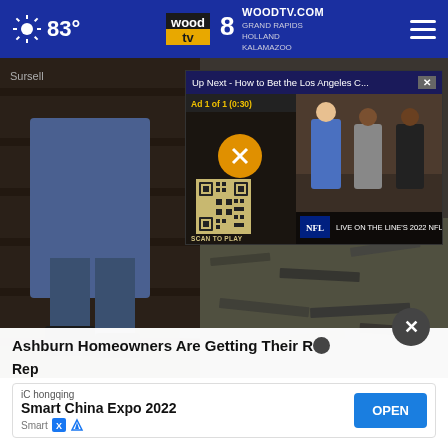[Figure (screenshot): WOODTV.com website screenshot showing navigation bar with 83° weather temperature, Wood 8 TV logo, and hamburger menu on dark blue background. Main content shows a video of someone working on a roof. A video popup overlay shows 'Up Next - How to Bet the Los Angeles C...' with an NFL preview program. Bottom shows advertisement overlay: 'Ashburn Homeowners Are Getting Their Roofs Replaced' with a Smart China Expo 2022 ad banner from iChongqing with an OPEN button.]